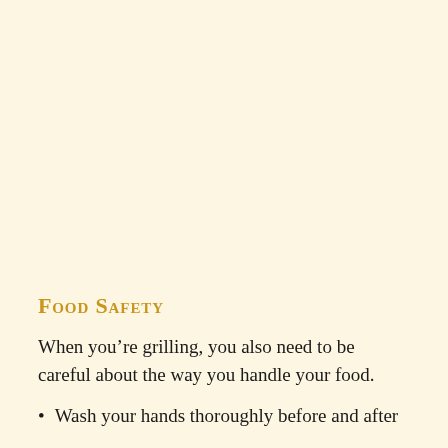Food Safety
When you’re grilling, you also need to be careful about the way you handle your food.
Wash your hands thoroughly before and after